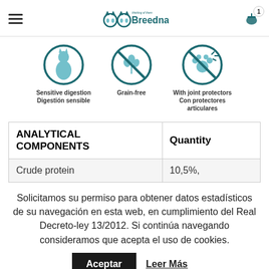Breedna - thinking of them
[Figure (infographic): Three circular icons: Sensitive digestion / Digestión sensible, Grain-free, With joint protectors / Con protectores articulares]
| ANALYTICAL COMPONENTS | Quantity |
| --- | --- |
| Crude protein | 10,5%, |
Solicitamos su permiso para obtener datos estadísticos de su navegación en esta web, en cumplimiento del Real Decreto-ley 13/2012. Si continúa navegando consideramos que acepta el uso de cookies.
Aceptar  Leer Más